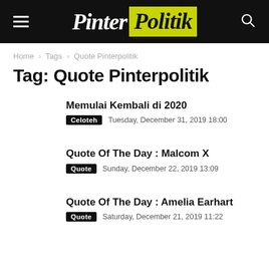[Figure (logo): Pinter Politik website header logo on black background with hamburger menu and search icon]
Home › Tags › Quote Pinterpolitik
Tag: Quote Pinterpolitik
Memulai Kembali di 2020
Celoteh   Tuesday, December 31, 2019 18:00
Quote Of The Day : Malcom X
Quote   Sunday, December 22, 2019 13:09
Quote Of The Day : Amelia Earhart
Quote   Saturday, December 21, 2019 11:22